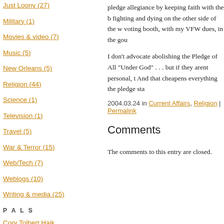Just Loony (27)
Military (1)
Movies & video (7)
Music (5)
New Orleans (5)
Religion (44)
Science (1)
Television (1)
Travel (5)
War & Terror (15)
Web/Tech (7)
Weblogs (10)
Writing & media (25)
P A L S
Cory Tolbert Haik
I am a journalist living in New Orleans with my husband and two daughters.
pledge allegiance by keeping faith with the b fighting and dying on the other side of the w voting booth, with my VFW dues, in the gou
I don't advocate abolishing the Pledge of All "Under God" . . . but if they arent personal, t And that cheapens everything the pledge sta
2004.03.24 in Current Affairs, Religion | Permalink
Comments
The comments to this entry are closed.